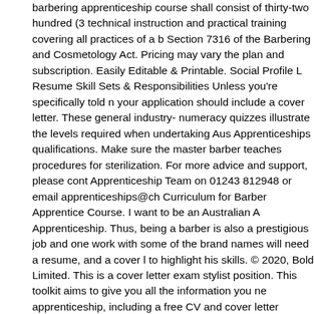barbering apprenticeship course shall consist of thirty-two hundred (3... technical instruction and practical training covering all practices of a b... Section 7316 of the Barbering and Cosmetology Act. Pricing may vary... the plan and subscription. Easily Editable & Printable. Social Profile L... Resume Skill Sets & Responsibilities Unless you're specifically told n... your application should include a cover letter. These general industry-... numeracy quizzes illustrate the levels required when undertaking Aus... Apprenticeships qualifications. Make sure the master barber teaches ... procedures for sterilization. For more advice and support, please cont... Apprenticeship Team on 01243 812948 or email apprenticeships@ch... Curriculum for Barber Apprentice Course. I want to be an Australian A... Apprenticeship. Thus, being a barber is also a prestigious job and one... work with some of the brand names will need a resume, and a cover l... to highlight his skills. © 2020, Bold Limited. This is a cover letter exam... stylist position. This toolkit aims to give you all the information you ne... apprenticeship, including a free CV and cover letter template for you t... use. ☐ Write a cover letter describing why you are interested in the B... Apprenticeship program. cover letter for apprentice hairdresser ... in a... Available in A4 & US. If it is difficult to incorporate those things into yo... can also use your cover letter to tailor your application even more. Th... being a good barber is more than just having good techniques; it's ab... service as well.In the last six years, I have had the opportunity to pra...